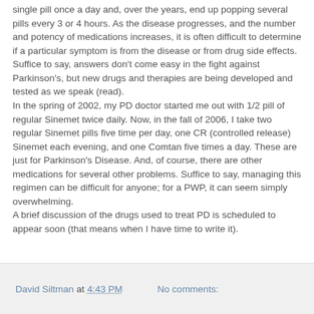single pill once a day and, over the years, end up popping several pills every 3 or 4 hours. As the disease progresses, and the number and potency of medications increases, it is often difficult to determine if a particular symptom is from the disease or from drug side effects. Suffice to say, answers don't come easy in the fight against Parkinson's, but new drugs and therapies are being developed and tested as we speak (read).
In the spring of 2002, my PD doctor started me out with 1/2 pill of regular Sinemet twice daily. Now, in the fall of 2006, I take two regular Sinemet pills five time per day, one CR (controlled release) Sinemet each evening, and one Comtan five times a day. These are just for Parkinson's Disease. And, of course, there are other medications for several other problems. Suffice to say, managing this regimen can be difficult for anyone; for a PWP, it can seem simply overwhelming.
A brief discussion of the drugs used to treat PD is scheduled to appear soon (that means when I have time to write it).
David Siltman at 4:43 PM   No comments: